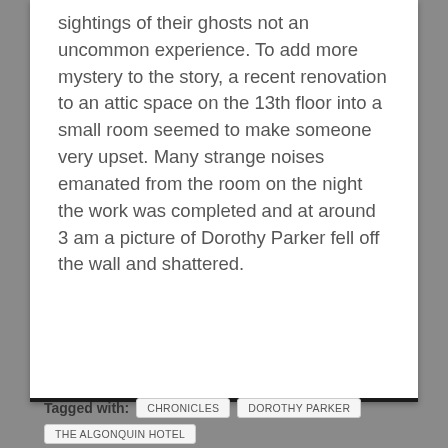sightings of their ghosts not an uncommon experience. To add more mystery to the story, a recent renovation to an attic space on the 13th floor into a small room seemed to make someone very upset. Many strange noises emanated from the room on the night the work was completed and at around 3 am a picture of Dorothy Parker fell off the wall and shattered.
Tagged with: CHRONICLES  DOROTHY PARKER  THE ALGONQUIN HOTEL  THE ALGONQUIN ROUND TABLE  THE VICIOUS CIRCLE
Previous: News: Daft Punk Unveil New Tron Video
Next: News: International Controversy at